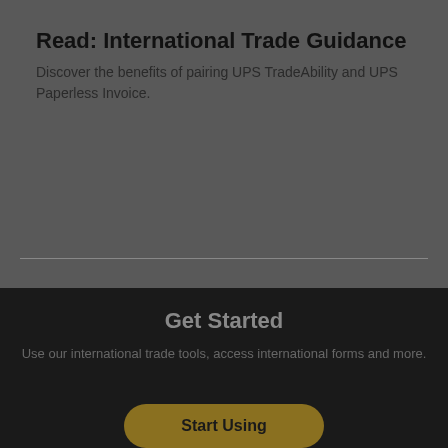Read: International Trade Guidance
Discover the benefits of pairing UPS TradeAbility and UPS Paperless Invoice.
Get Started
Use our international trade tools, access international forms and more.
Start Using